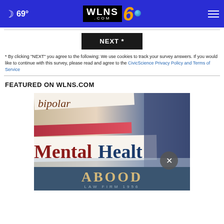WLNS6.COM — 69°
NEXT *
* By clicking "NEXT" you agree to the following: We use cookies to track your survey answers. If you would like to continue with this survey, please read and agree to the CivicScience Privacy Policy and Terms of Service
FEATURED ON WLNS.COM
[Figure (photo): Image showing text 'bipolar' and 'Mental Health' on paper clippings, with an ABOOD LAW FIRM 1956 advertisement overlay at the bottom.]